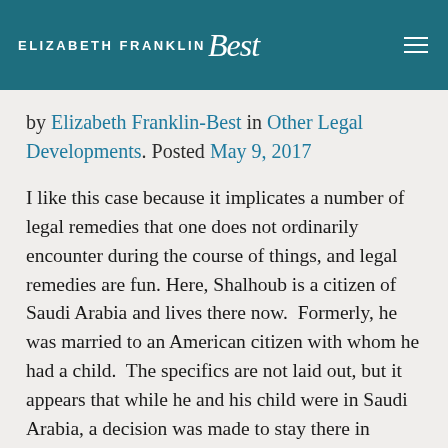Elizabeth Franklin-Best
by Elizabeth Franklin-Best in Other Legal Developments. Posted May 9, 2017
I like this case because it implicates a number of legal remedies that one does not ordinarily encounter during the course of things, and legal remedies are fun. Here, Shalhoub is a citizen of Saudi Arabia and lives there now.  Formerly, he was married to an American citizen with whom he had a child.  The specifics are not laid out, but it appears that while he and his child were in Saudi Arabia, a decision was made to stay there in violation of the child custody arrangements